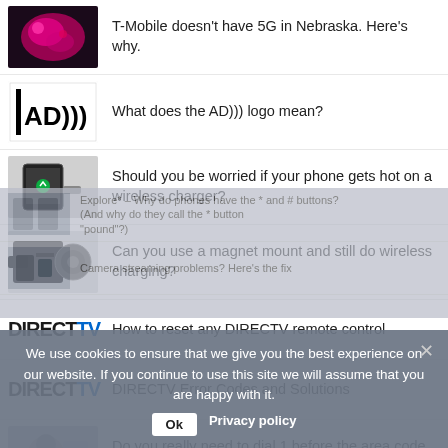T-Mobile doesn't have 5G in Nebraska. Here's why.
What does the AD))) logo mean?
Should you be worried if your phone gets hot on a wireless charger?
Can you use a magnet mount and still do wireless charging?
How to reset any DIRECTV remote control
DIRECTV Error Codes and Solutions
Do you really need to dial 1 before the area code (if you're on a cell phone?)
We use cookies to ensure that we give you the best experience on our website. If you continue to use this site we will assume that you are happy with it.
Ok   Privacy policy